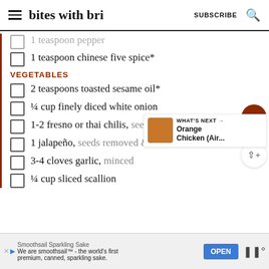bites with bri — SUBSCRIBE
1 teaspoon pepper
1 teaspoon chinese five spice*
VEGETABLES
2 teaspoons toasted sesame oil*
¼ cup finely diced white onion
1-2 fresno or thai chilis, seeds removed & diced
1 jalapeño, seeds removed & diced
3-4 cloves garlic, minced
¼ cup sliced scallion
WHAT'S NEXT → Orange Chicken (Air...
Smoothsail Sparkling Sake — We are smoothsail™ - the world's first premium, canned, sparkling sake. OPEN